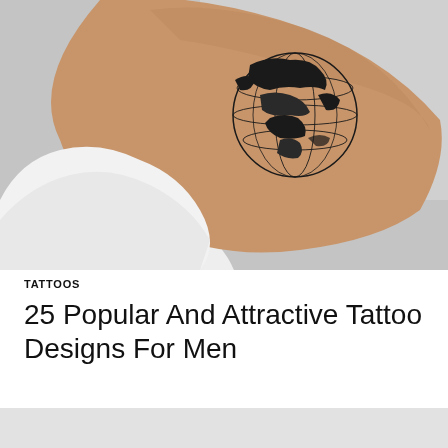[Figure (photo): Close-up photo of a person's arm/elbow area with a globe tattoo featuring continental outlines and longitude/latitude grid lines, in black ink. The person is wearing a white sleeve visible at lower left. Background is light grey.]
TATTOOS
25 Popular And Attractive Tattoo Designs For Men
[Figure (photo): Partial view of a second photo, cropped at page bottom, showing a light grey background, likely another tattoo image.]